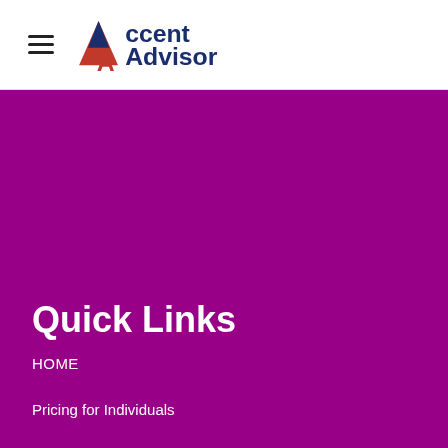Accent Advisor
Quick Links
HOME
Pricing for Individuals
Pricing for Companies